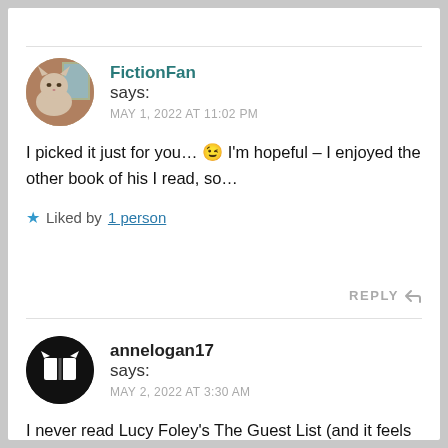FictionFan says: MAY 1, 2022 AT 11:02 PM
I picked it just for you… 😉 I'm hopeful – I enjoyed the other book of his I read, so…
★ Liked by 1 person
REPLY
annelogan17 says: MAY 2, 2022 AT 3:30 AM
I never read Lucy Foley's The Guest List (and it feels